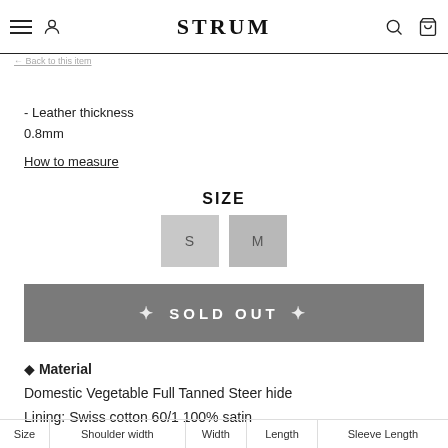STRUM
- Leather thickness
0.8mm
How to measure
SIZE
S  M
SOLD OUT
◆ Material
Domestic Vegetable Full Tanned Steer hide
Lining: Swiss cotton 60/1 100% satin
| Size | Shoulder width | Width | Length | Sleeve Length |
| --- | --- | --- | --- | --- |